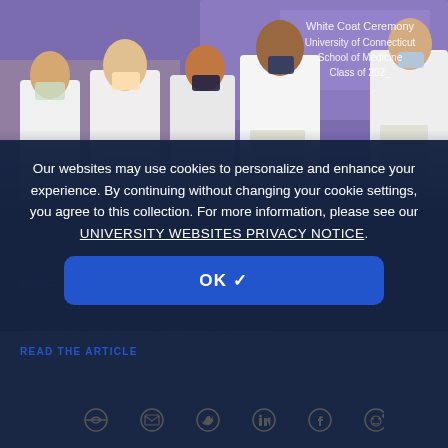[Figure (photo): Medical students in white coats and masks at the UConn School of Medicine White Coat Ceremony, Class of 2026. Students are holding papers and standing in rows. A purple banner in the background reads 'White Coat Ceremony University of Connecticut School of Medicine Class of 202_'.]
Our websites may use cookies to personalize and enhance your experience. By continuing without changing your cookie settings, you agree to this collection. For more information, please see our UNIVERSITY WEBSITES PRIVACY NOTICE.
August …
Back to School for UConn Medical School with a 110 New White Coats
READ THE ARTICLE
[Figure (infographic): Row of social media sharing icons: link/copy, email, Twitter, LinkedIn, Facebook, Reddit]